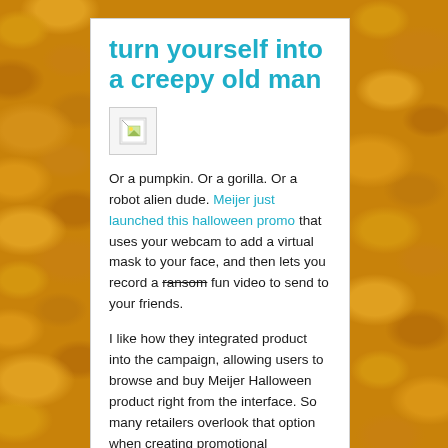turn yourself into a creepy old man
[Figure (illustration): Broken/missing image placeholder icon]
Or a pumpkin. Or a gorilla. Or a robot alien dude. Meijer just launched this halloween promo that uses your webcam to add a virtual mask to your face, and then lets you record a ransom fun video to send to your friends.
I like how they integrated product into the campaign, allowing users to browse and buy Meijer Halloween product right from the interface. So many retailers overlook that option when creating promotional campaigns, and miss the